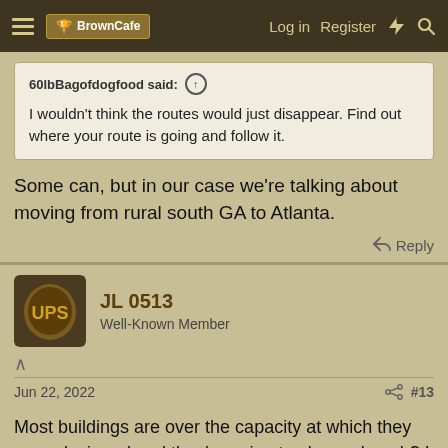BrownCafe — Log in   Register
60lbBagofdogfood said: ↑
I wouldn't think the routes would just disappear. Find out where your route is going and follow it.
Some can, but in our case we're talking about moving from rural south GA to Atlanta.
Reply
JL 0513
Well-Known Member
Jun 22, 2022   #13
Most buildings are over the capacity at which they were designed and they're going to close a bunch? I don't believe it.